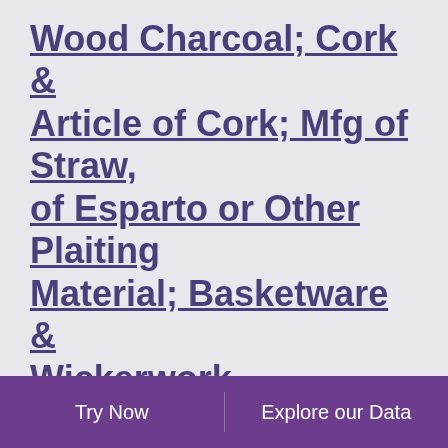Wood Charcoal; Cork & Article of Cork; Mfg of Straw, of Esparto or Other Plaiting Material; Basketware & Wickerwork
1993 - 2018 | MONTHLY | USD MN | GENERAL ADMINISTRATION OF CUSTOMS
CN: Import hs: Canada: Wood & Article of Wood; Wood Charcoal; Cork & Article of Cork; Mfg of Straw, of Esparto or Other Plaiting Material; Basketware & Wickerwork data was reported at 128.448 USD mn in Jun 2018. This records a decrease from the previous number of 154.399 USD mn for May 2018. CN: Import hs: Canada: Wood & Article of Wood;
Try Now    Explore our Data